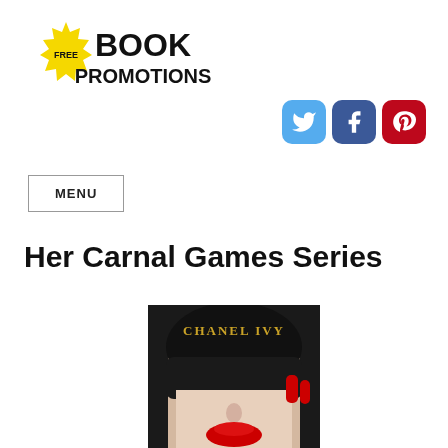[Figure (logo): Free Book Promotions logo with yellow starburst badge and bold black text]
[Figure (infographic): Three social media icon buttons: Twitter (blue bird), Facebook (blue f), Pinterest (red P)]
MENU
Her Carnal Games Series
[Figure (photo): Book cover for Chanel Ivy showing a woman with red lips wearing a black lace masquerade mask, with red fingernails]